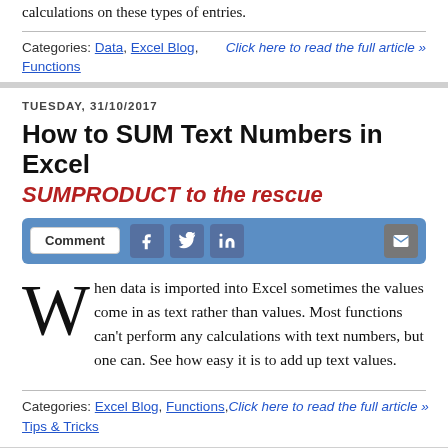calculations on these types of entries.
Categories: Data, Excel Blog, Functions
Click here to read the full article »
TUESDAY, 31/10/2017
How to SUM Text Numbers in Excel
SUMPRODUCT to the rescue
[Figure (other): Social sharing bar with Comment button, Facebook, Twitter, LinkedIn icons, and email icon]
When data is imported into Excel sometimes the values come in as text rather than values. Most functions can't perform any calculations with text numbers, but one can. See how easy it is to add up text values.
Categories: Excel Blog, Functions,
Click here to read the full article »
Tips & Tricks